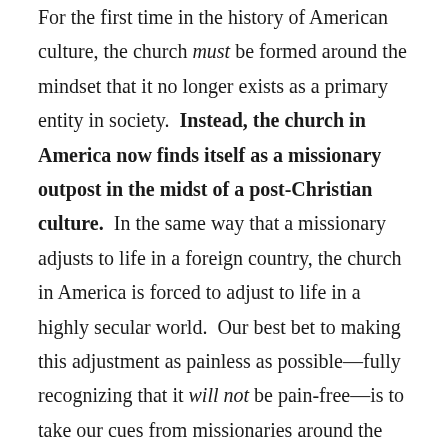For the first time in the history of American culture, the church must be formed around the mindset that it no longer exists as a primary entity in society.  Instead, the church in America now finds itself as a missionary outpost in the midst of a post-Christian culture.  In the same way that a missionary adjusts to life in a foreign country, the church in America is forced to adjust to life in a highly secular world.  Our best bet to making this adjustment as painless as possible—fully recognizing that it will not be pain-free—is to take our cues from missionaries around the world who have been faithfully embodying the gospel for generations.  This is foundation of what it means to